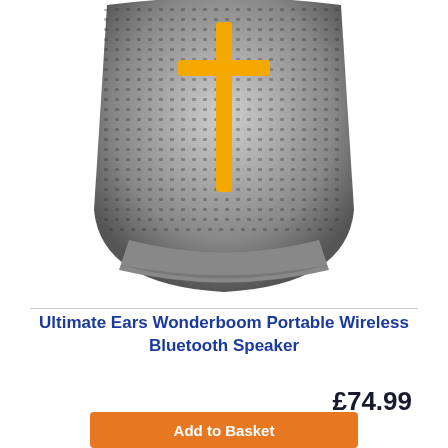[Figure (photo): Grey Ultimate Ears Wonderboom portable Bluetooth speaker with yellow cross/plus button on front mesh fabric, rounded cylindrical shape with grey rubber base, viewed from front]
Ultimate Ears Wonderboom Portable Wireless Bluetooth Speaker
£74.99
Add to Basket